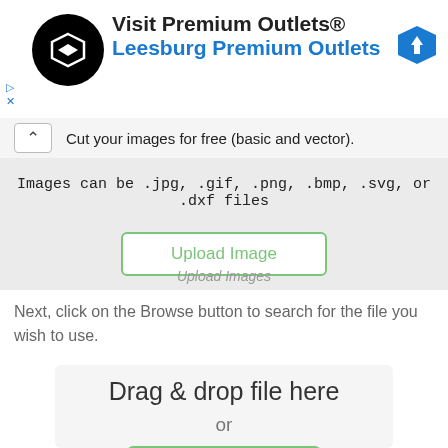[Figure (screenshot): Advertisement banner for Premium Outlets / Leesburg Premium Outlets with circular black logo icon and blue navigation icon]
Cut your images for free (basic and vector).
Images can be .jpg, .gif, .png, .bmp, .svg, or .dxf files
[Figure (screenshot): Upload Image button with green border]
Upload Images
Next, click on the Browse button to search for the file you wish to use.
[Figure (screenshot): Drag & drop file here upload widget with or text and Browse button partially visible]